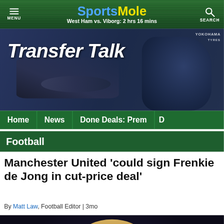Sports Mole | West Ham vs. Viborg: 2 hrs 16 mins | MENU | SEARCH
[Figure (illustration): Transfer Talk banner image showing a person signing a document, with 'Transfer Talk' text overlay and Yokohama Tyres logo]
[Figure (screenshot): Navigation bar with items: Home | News | Done Deals: Prem | (more cut off)]
Football
Manchester United 'could sign Frenkie de Jong in cut-price deal'
By Matt Law, Football Editor | 3mo
[Figure (photo): Photo of Frenkie de Jong in a Barcelona jersey, dark background]